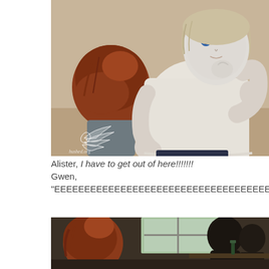[Figure (photo): Photo of two BJD (ball-jointed) dolls. One doll in the foreground wears a white knit sweater and has blue eyes and blonde hair, looking contemplative. Another doll with red/auburn hair is partially visible on the left. A decorative wing watermark with text 'hushed.org' is visible in the lower left of the photo.]
Alister, I have to get out of here!!!!!!!
Gwen,
"EEEEEEEEEEEEEEEEEEEEEEEEEEEEEEEEEEEEEEEEEEEEEEEEE
[Figure (photo): Partial photo showing BJD doll with red/auburn hair, silhouette figures visible in background near a window.]